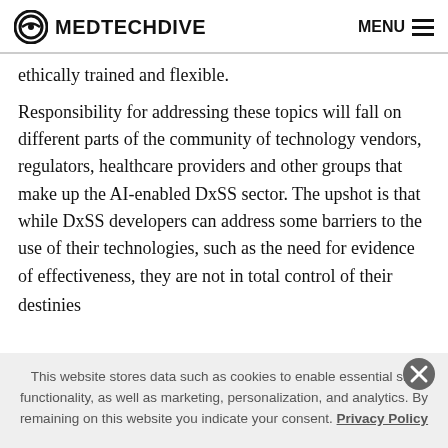MEDTECHDIVE  MENU
ethically trained and flexible.
Responsibility for addressing these topics will fall on different parts of the community of technology vendors, regulators, healthcare providers and other groups that make up the AI-enabled DxSS sector. The upshot is that while DxSS developers can address some barriers to the use of their technologies, such as the need for evidence of effectiveness, they are not in total control of their destinies
This website stores data such as cookies to enable essential site functionality, as well as marketing, personalization, and analytics. By remaining on this website you indicate your consent. Privacy Policy